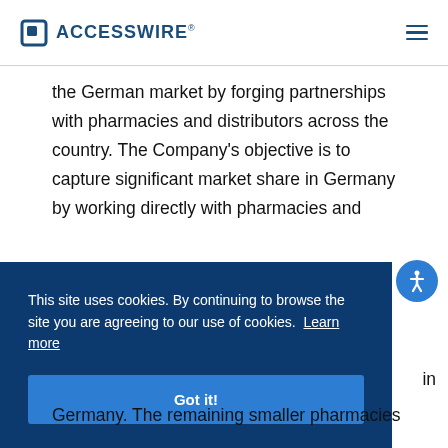ACCESSWIRE®
the German market by forging partnerships with pharmacies and distributors across the country. The Company's objective is to capture significant market share in Germany by working directly with pharmacies and
This site uses cookies. By continuing to browse the site you are agreeing to our use of cookies. Learn more
Got it!
in Germany. The remaining smaller pharmacies